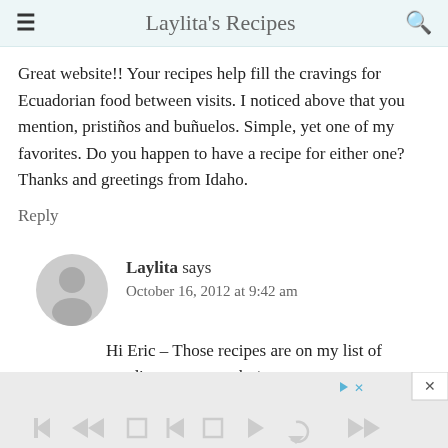Laylita's Recipes
Great website!! Your recipes help fill the cravings for Ecuadorian food between visits. I noticed above that you mention, pristiños and buñuelos. Simple, yet one of my favorites. Do you happen to have a recipe for either one? Thanks and greetings from Idaho.
Reply
Laylita says
October 16, 2012 at 9:42 am
Hi Eric – Those recipes are on my list of pending ones to make/post.